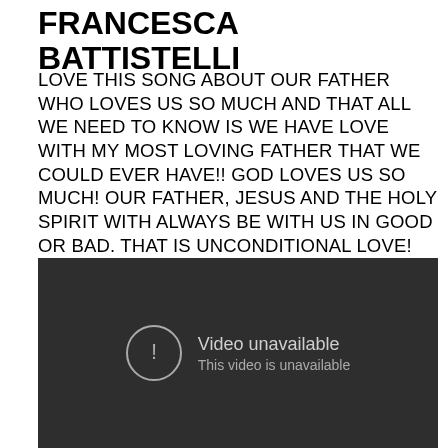FRANCESCA BATTISTELLI
LOVE THIS SONG ABOUT OUR FATHER WHO LOVES US SO MUCH AND THAT ALL WE NEED TO KNOW IS WE HAVE LOVE WITH MY MOST LOVING FATHER THAT WE COULD EVER HAVE!! GOD LOVES US SO MUCH! OUR FATHER, JESUS AND THE HOLY SPIRIT WITH ALWAYS BE WITH US IN GOOD OR BAD. THAT IS UNCONDITIONAL LOVE! AMEN! GOD BLESS YOU ALL!
[Figure (screenshot): Embedded video player showing 'Video unavailable / This video is unavailable' error message on a dark background]